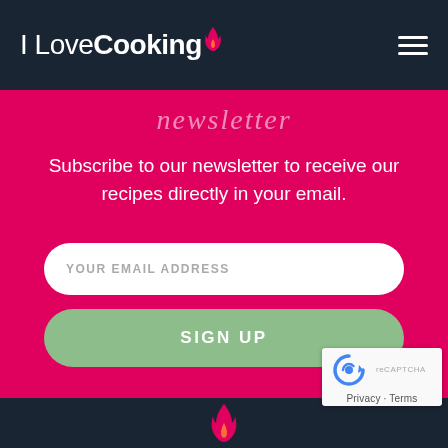[Figure (logo): I Love Cooking logo with flame icon on dark navy background, with hamburger menu icon on the right]
newsletter
Subscribe to our newsletter to receive our recipes directly in your email.
YOUR EMAIL ADDRESS
SIGN UP
[Figure (logo): I Love Cooking flame logo at bottom of page on dark navy background]
[Figure (other): reCAPTCHA badge with robot icon, Privacy and Terms links]